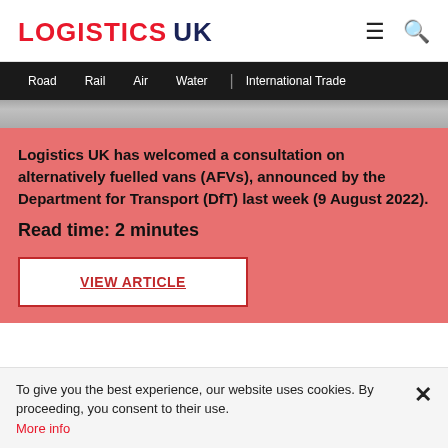LOGISTICS UK
[Figure (screenshot): Navigation bar with Road, Rail, Air, Water, International Trade menu items on dark background]
[Figure (photo): Partial image strip showing vehicle/transport scene]
Logistics UK has welcomed a consultation on alternatively fuelled vans (AFVs), announced by the Department for Transport (DfT) last week (9 August 2022).
Read time: 2 minutes
VIEW ARTICLE
To give you the best experience, our website uses cookies. By proceeding, you consent to their use. More info